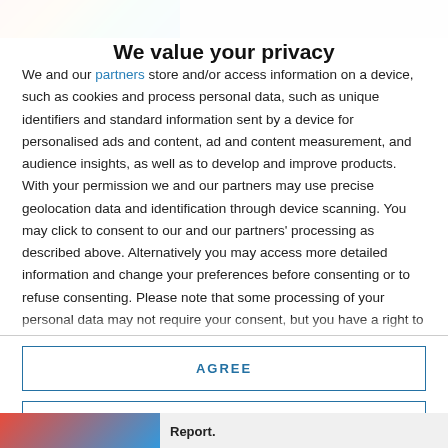[Figure (photo): Partial colorful image at top of page (cropped)]
We value your privacy
We and our partners store and/or access information on a device, such as cookies and process personal data, such as unique identifiers and standard information sent by a device for personalised ads and content, ad and content measurement, and audience insights, as well as to develop and improve products. With your permission we and our partners may use precise geolocation data and identification through device scanning. You may click to consent to our and our partners' processing as described above. Alternatively you may access more detailed information and change your preferences before consenting or to refuse consenting. Please note that some processing of your personal data may not require your consent, but you have a right to
AGREE
MORE OPTIONS
[Figure (photo): Partial image at bottom of page with text 'Report.']